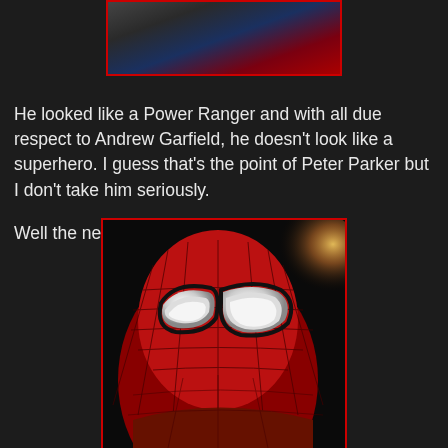[Figure (photo): Top portion of Spider-Man costume showing red and blue suit details, partial torso view]
He looked like a Power Ranger and with all due respect to Andrew Garfield, he doesn't look like a superhero.  I guess that's the point of Peter Parker but I don't take him seriously.

Well the new pic for Spidey 2 is out:
[Figure (photo): Amazing Spider-Man 2 promotional image showing Spider-Man's head and upper body in the classic red and blue suit with web patterns, large white eye lenses, with a bright light source behind]